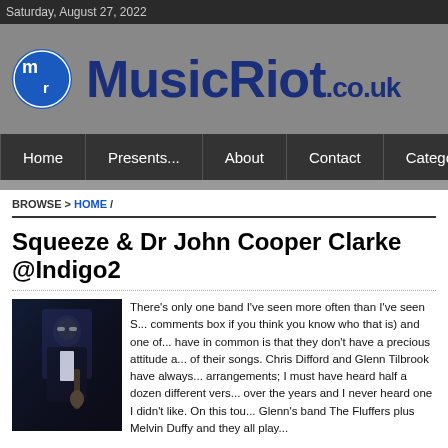Saturday, August 27, 2022
[Figure (logo): MusicRiot.co.uk logo with blue circle MR emblem and bold dark blue site name]
Home | Presents... | About | Contact | Categories
BROWSE > HOME /
Squeeze & Dr John Cooper Clarke @Indigo2
There's only one band I've seen more often than I've seen S... comments box if you think you know who that is) and one of... have in common is that they don't have a precious attitude a... of their songs. Chris Difford and Glenn Tilbrook have always... arrangements; I must have heard half a dozen different vers... over the years and I never heard one I didn't like. On this tou... Glenn's band The Fluffers plus Melvin Duffy and they all play...